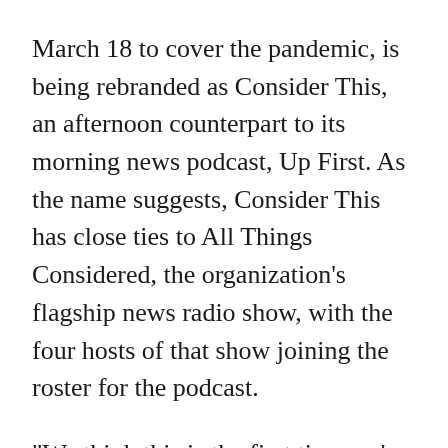Daily, the daily podcast it launched on March 18 to cover the pandemic, is being rebranded as Consider This, an afternoon counterpart to its morning news podcast, Up First. As the name suggests, Consider This has close ties to All Things Considered, the organization's flagship news radio show, with the four hosts of that show joining the roster for the podcast.
“We think this is the first time we’ve done something like this,” Neal Carruth, NPR’s senior director of on-demand news programming, told me last week. “We’re pretty confident that Coronavirus Daily was both the fastest launch in NPR history and the fastest-growth audience of any podcast.” Coronavirus